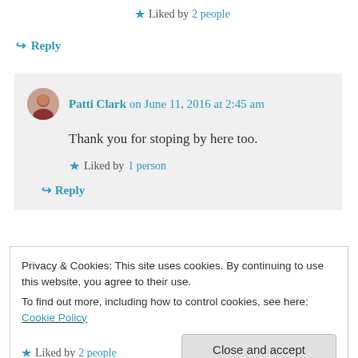★ Liked by 2 people
↪ Reply
Patti Clark on June 11, 2016 at 2:45 am
Thank you for stoping by here too.
★ Liked by 1 person
↪ Reply
Privacy & Cookies: This site uses cookies. By continuing to use this website, you agree to their use. To find out more, including how to control cookies, see here: Cookie Policy
Close and accept
★ Liked by 2 people